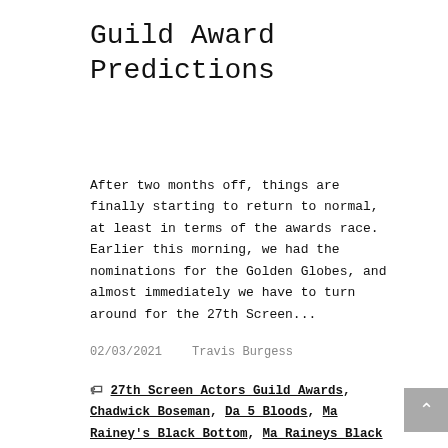Guild Award Predictions
After two months off, things are finally starting to return to normal, at least in terms of the awards race. Earlier this morning, we had the nominations for the Golden Globes, and almost immediately we have to turn around for the 27th Screen...
02/03/2021    Travis Burgess
🏷 27th Screen Actors Guild Awards, Chadwick Boseman, Da 5 Bloods, Ma Rainey's Black Bottom, Ma Raineys Black Bottom, Minari, One Night In Miami, Ozark, Predictions, Schitt's